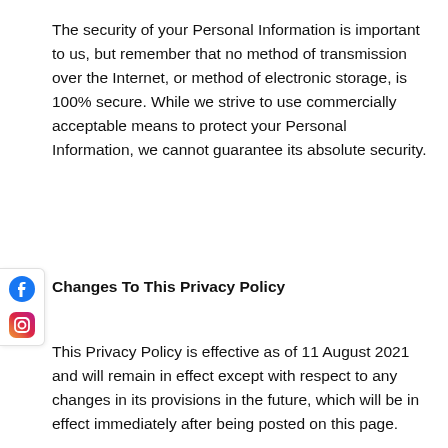The security of your Personal Information is important to us, but remember that no method of transmission over the Internet, or method of electronic storage, is 100% secure. While we strive to use commercially acceptable means to protect your Personal Information, we cannot guarantee its absolute security.
Changes To This Privacy Policy
This Privacy Policy is effective as of 11 August 2021 and will remain in effect except with respect to any changes in its provisions in the future, which will be in effect immediately after being posted on this page.